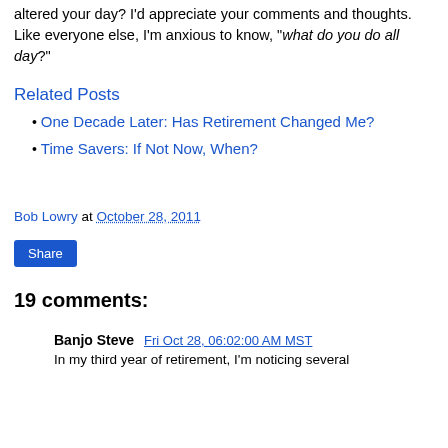altered your day? I'd appreciate your comments and thoughts. Like everyone else, I'm anxious to know, "what do you do all day?"
Related Posts
One Decade Later: Has Retirement Changed Me?
Time Savers: If Not Now, When?
Bob Lowry at October 28, 2011
Share
19 comments:
Banjo Steve  Fri Oct 28, 06:02:00 AM MST
In my third year of retirement, I'm noticing several